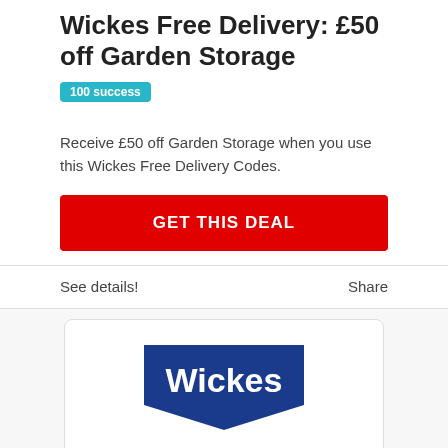Wickes Free Delivery: £50 off Garden Storage
100 success
Receive £50 off Garden Storage when you use this Wickes Free Delivery Codes.
GET THIS DEAL
See details!
Share
[Figure (logo): Wickes logo — blue pentagon/shield shape with 'Wickes' in white bold text, and tagline 'Let's do it right' in dark blue below]